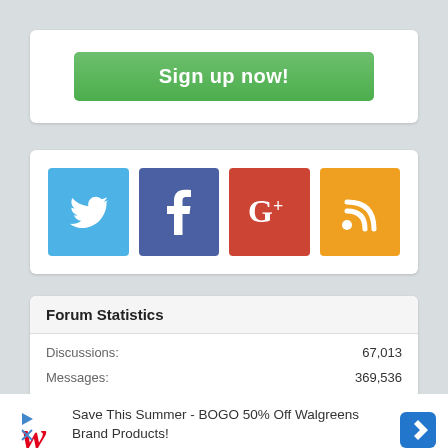[Figure (other): Green 'Sign up now!' button inside a white rounded box]
[Figure (other): Social media icons: Twitter (blue bird), Facebook (blue f), Google+ (red G+), RSS (orange wifi symbol)]
Forum Statistics
| Discussions: | 67,013 |
| Messages: | 369,536 |
| Members: | 103,720 |
[Figure (other): Walgreens advertisement: Save This Summer - BOGO 50% Off Walgreens Brand Products! with Walgreens logo and navigation arrow]